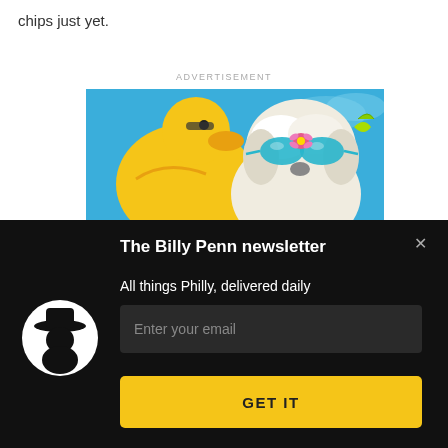chips just yet.
ADVERTISEMENT
[Figure (photo): A fluffy white dog wearing teal sunglasses with a pink flower, next to a yellow inflatable duck ring, against a blue sky background.]
The Billy Penn newsletter
All things Philly, delivered daily
[Figure (logo): Billy Penn logo: white silhouette of a man wearing a wide-brim hat inside a white circle on black background.]
Enter your email
GET IT